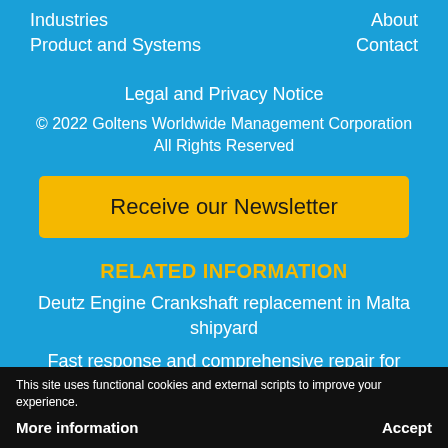Industries
About
Product and Systems
Contact
Legal and Privacy Notice
© 2022 Goltens Worldwide Management Corporation
All Rights Reserved
Receive our Newsletter
RELATED INFORMATION
Deutz Engine Crankshaft replacement in Malta shipyard
Fast response and comprehensive repair for
This site uses functional cookies and external scripts to improve your experience.
More information
Accept